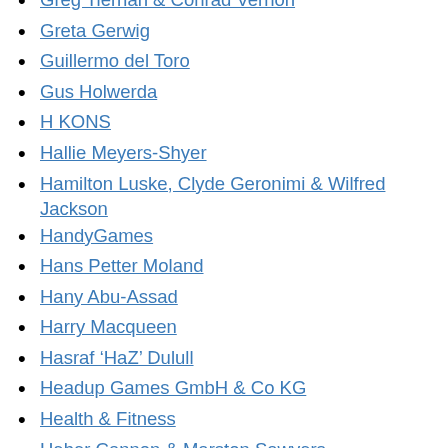Greg Tiernan & Conrad Vernon
Greta Gerwig
Guillermo del Toro
Gus Holwerda
H KONS
Hallie Meyers-Shyer
Hamilton Luske, Clyde Geronimi & Wilfred Jackson
HandyGames
Hans Petter Moland
Hany Abu-Assad
Harry Macqueen
Hasraf 'HaZ' Dulull
Headup Games GmbH & Co KG
Health & Fitness
Heber Cannon & Marston Sawyers
Hicham Hajji
Hindsight Labs LLC
Hirokazu Kore-Eda